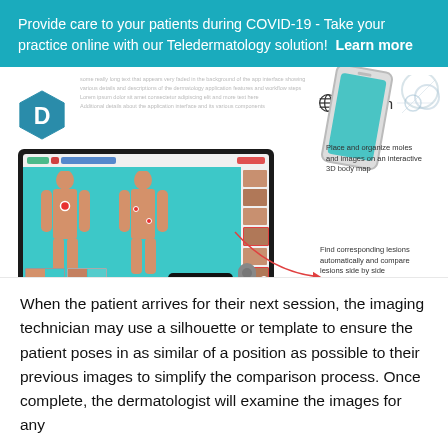Provide care to your patients during COVID-19 - Take your practice online with our Teledermatology solution!  Learn more
[Figure (screenshot): Dermatology software interface showing a 3D body map with skin lesion markers on a TV screen mockup. Annotations read: 'Place and organize moles and images on an interactive 3D body map' and 'Find corresponding lesions automatically and compare lesions side by side'. Includes a phone mockup and Apple TV box.]
When the patient arrives for their next session, the imaging technician may use a silhouette or template to ensure the patient poses in as similar of a position as possible to their previous images to simplify the comparison process. Once complete, the dermatologist will examine the images for any